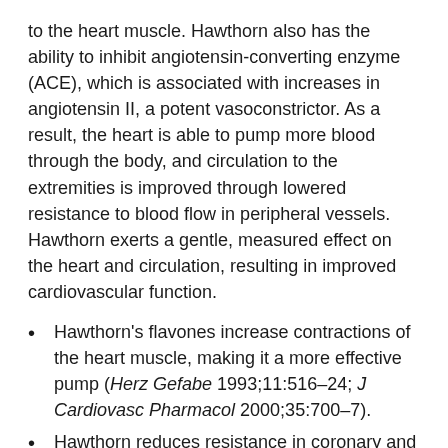to the heart muscle. Hawthorn also has the ability to inhibit angiotensin-converting enzyme (ACE), which is associated with increases in angiotensin II, a potent vasoconstrictor. As a result, the heart is able to pump more blood through the body, and circulation to the extremities is improved through lowered resistance to blood flow in peripheral vessels. Hawthorn exerts a gentle, measured effect on the heart and circulation, resulting in improved cardiovascular function.
Hawthorn's flavones increase contractions of the heart muscle, making it a more effective pump (Herz Gefabe 1993;11:516-24; J Cardiovasc Pharmacol 2000;35:700-7).
Hawthorn reduces resistance in coronary and peripheral blood vessels and improves blood and oxygen flow to myocardial muscles (Arzneim-Forsch Drug Res 1967;17:490-1; ESCOP Phytotelegram 1994;6:20-6).